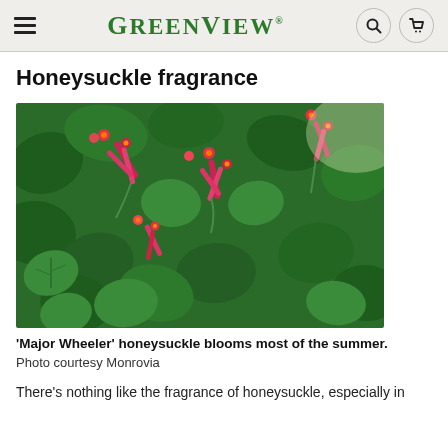GREENVIEW
Honeysuckle fragrance
[Figure (photo): Close-up photograph of 'Major Wheeler' honeysuckle plant with bright pink-red tubular flowers and green rounded leaves]
'Major Wheeler' honeysuckle blooms most of the summer.
Photo courtesy Monrovia
There's nothing like the fragrance of honeysuckle, especially in